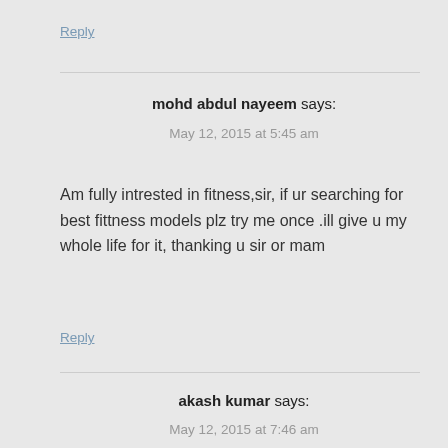Reply
mohd abdul nayeem says:
May 12, 2015 at 5:45 am
Am fully intrested in fitness,sir, if ur searching for best fittness models plz try me once .ill give u my whole life for it, thanking u sir or mam
Reply
akash kumar says:
May 12, 2015 at 7:46 am